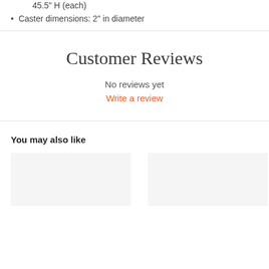45.5" H (each)
Caster dimensions: 2" in diameter
Customer Reviews
No reviews yet
Write a review
You may also like
[Figure (other): Two product image placeholder cards side by side]